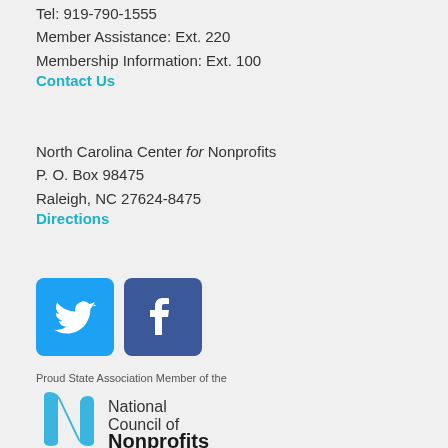Tel: 919-790-1555
Member Assistance: Ext. 220
Membership Information: Ext. 100
Contact Us
North Carolina Center for Nonprofits
P. O. Box 98475
Raleigh, NC 27624-8475
Directions
[Figure (logo): Twitter bird logo icon (white on cyan/blue square)]
[Figure (logo): Facebook f logo icon (white on dark blue square)]
Proud State Association Member of the
[Figure (logo): National Council of Nonprofits logo with blue stylized n and text National Council of Nonprofits]